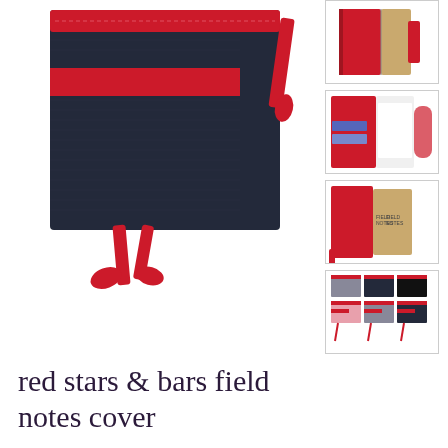[Figure (photo): Main product photo of red stars & bars field notes cover: dark navy denim fabric notebook cover with red accent stripes, red elastic closure band, and red ribbon bookmark/ties hanging out.]
[Figure (photo): Thumbnail 1: red and kraft/tan field notes cover closed, showing red binding and tan notebook.]
[Figure (photo): Thumbnail 2: field notes cover open showing interior with white notebook, blue cards, and red pocket lining.]
[Figure (photo): Thumbnail 3: field notes cover open showing two kraft field notes notebooks inside red cover.]
[Figure (photo): Thumbnail 4: grid of multiple field notes covers in various fabric colors including grey, navy, black, pink, with red accents.]
red stars & bars field notes cover